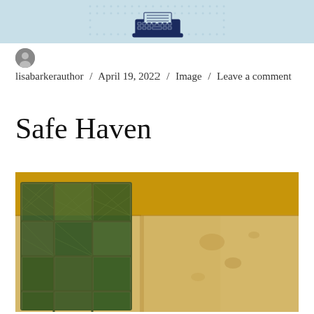[Figure (illustration): Blog header banner with light blue background and a dark blue illustration of a typewriter]
lisabarkerauthor / April 19, 2022 / Image / Leave a comment
Safe Haven
[Figure (photo): Interior room photograph showing a corner with a yellow/ochre ceiling, latticed window with green foliage visible outside, and pale yellow-beige walls with some marks/stains]